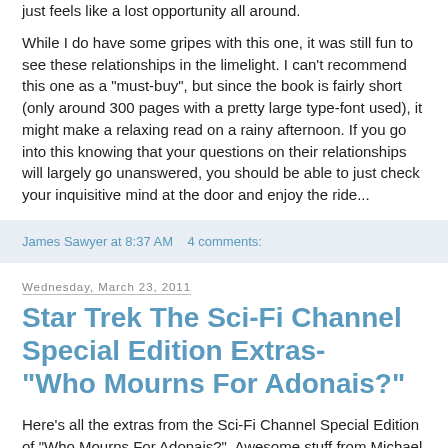just feels like a lost opportunity all around.
While I do have some gripes with this one, it was still fun to see these relationships in the limelight. I can't recommend this one as a "must-buy", but since the book is fairly short (only around 300 pages with a pretty large type-font used), it might make a relaxing read on a rainy afternoon. If you go into this knowing that your questions on their relationships will largely go unanswered, you should be able to just check your inquisitive mind at the door and enjoy the ride...
James Sawyer at 8:37 AM   4 comments:
Wednesday, March 23, 2011
Star Trek The Sci-Fi Channel Special Edition Extras- "Who Mourns For Adonais?"
Here's all the extras from the Sci-Fi Channel Special Edition of "Who Mourns For Adonais?". Awesome stuff from Michael